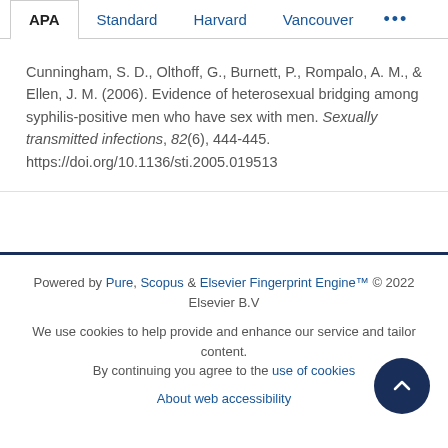APA | Standard | Harvard | Vancouver | ...
Cunningham, S. D., Olthoff, G., Burnett, P., Rompalo, A. M., & Ellen, J. M. (2006). Evidence of heterosexual bridging among syphilis-positive men who have sex with men. Sexually transmitted infections, 82(6), 444-445. https://doi.org/10.1136/sti.2005.019513
Powered by Pure, Scopus & Elsevier Fingerprint Engine™ © 2022 Elsevier B.V

We use cookies to help provide and enhance our service and tailor content. By continuing you agree to the use of cookies

About web accessibility